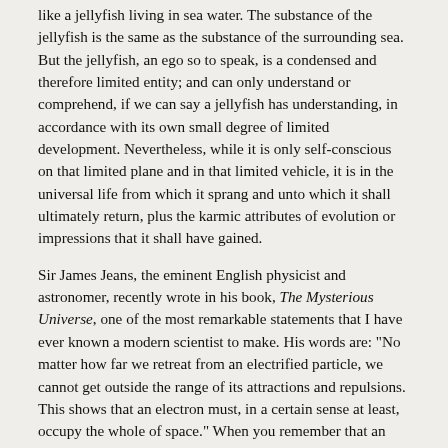like a jellyfish living in sea water. The substance of the jellyfish is the same as the substance of the surrounding sea. But the jellyfish, an ego so to speak, is a condensed and therefore limited entity; and can only understand or comprehend, if we can say a jellyfish has understanding, in accordance with its own small degree of limited development. Nevertheless, while it is only self-conscious on that limited plane and in that limited vehicle, it is in the universal life from which it sprang and unto which it shall ultimately return, plus the karmic attributes of evolution or impressions that it shall have gained.
Sir James Jeans, the eminent English physicist and astronomer, recently wrote in his book, The Mysterious Universe, one of the most remarkable statements that I have ever known a modern scientist to make. His words are: "No matter how far we retreat from an electrified particle, we cannot get outside the range of its attractions and repulsions. This shows that an electron must, in a certain sense at least, occupy the whole of space." When you remember that an electrified particle is what modern science calls an electron, one of the component elements or building bricks of a physical atom, it becomes clear that so infinitesimal an entity, despite its limits or finitude, is likewise universal in its reach, or, what comes to the same thing, in its actions and in its corresponding reactions.
That is exactly the idea of the ancient wisdom. It is exactly the